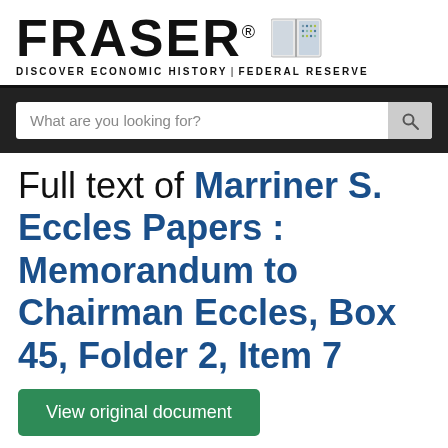[Figure (logo): FRASER logo with open book icon and tagline: DISCOVER ECONOMIC HISTORY | FEDERAL RESERVE]
What are you looking for?
Full text of Marriner S. Eccles Papers : Memorandum to Chairman Eccles, Box 45, Folder 2, Item 7
View original document
The full text on this page is automatically extracted